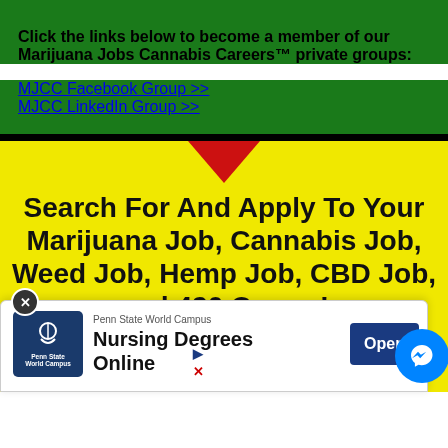Click the links below to become a member of our Marijuana Jobs Cannabis Careers™ private groups:
MJCC Facebook Group >>
MJCC LinkedIn Group >>
Search For And Apply To Your Marijuana Job, Cannabis Job, Weed Job, Hemp Job, CBD Job, and 420 Career!
[Figure (screenshot): Advertisement overlay: Penn State World Campus ad for Nursing Degrees Online with Open button, plus Messenger icon and close button]